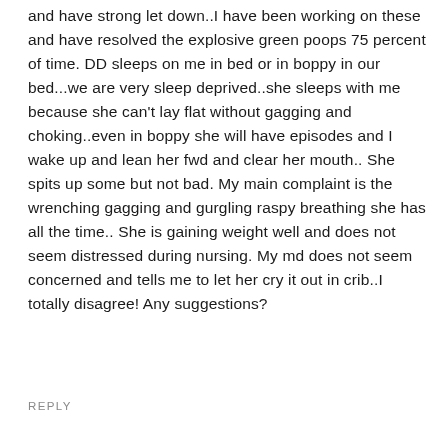and have strong let down..I have been working on these and have resolved the explosive green poops 75 percent of time. DD sleeps on me in bed or in boppy in our bed...we are very sleep deprived..she sleeps with me because she can't lay flat without gagging and choking..even in boppy she will have episodes and I wake up and lean her fwd and clear her mouth.. She spits up some but not bad. My main complaint is the wrenching gagging and gurgling raspy breathing she has all the time.. She is gaining weight well and does not seem distressed during nursing. My md does not seem concerned and tells me to let her cry it out in crib..I totally disagree! Any suggestions?
REPLY